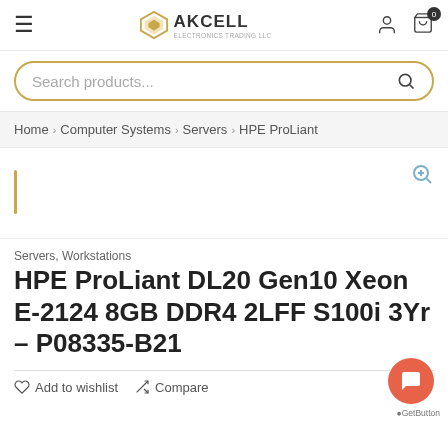AKCELL - Electronics Trading LLC
Search products...
Home > Computer Systems > Servers > HPE ProLiant
[Figure (other): Product image area with zoom icon and yellow accent bar]
Servers, Workstations
HPE ProLiant DL20 Gen10 Xeon E-2124 8GB DDR4 2LFF S100i 3Yr – P08335-B21
Add to wishlist   Compare